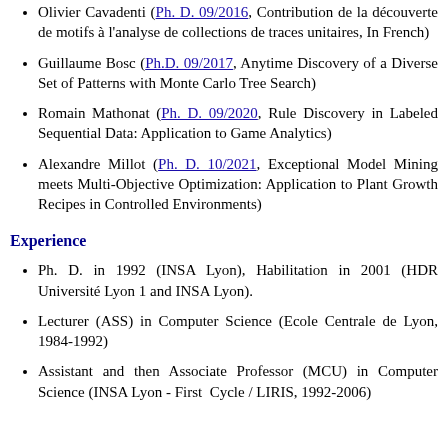Olivier Cavadenti (Ph. D. 09/2016, Contribution de la découverte de motifs à l'analyse de collections de traces unitaires, In French)
Guillaume Bosc (Ph.D. 09/2017, Anytime Discovery of a Diverse Set of Patterns with Monte Carlo Tree Search)
Romain Mathonat (Ph. D. 09/2020, Rule Discovery in Labeled Sequential Data: Application to Game Analytics)
Alexandre Millot (Ph. D. 10/2021, Exceptional Model Mining meets Multi-Objective Optimization: Application to Plant Growth Recipes in Controlled Environments)
Experience
Ph. D. in 1992 (INSA Lyon), Habilitation in 2001 (HDR Université Lyon 1 and INSA Lyon).
Lecturer (ASS) in Computer Science (Ecole Centrale de Lyon, 1984-1992)
Assistant and then Associate Professor (MCU) in Computer Science (INSA Lyon - First Cycle / LIRIS, 1992-2006)